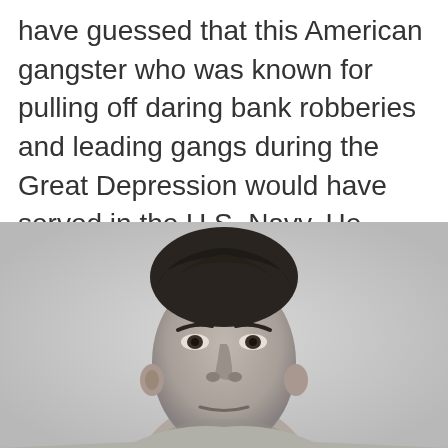have guessed that this American gangster who was known for pulling off daring bank robberies and leading gangs during the Great Depression would have served in the U.S. Navy. He served his time in the fire brigade unit of the Navy.
[Figure (photo): Black and white portrait photo of a man with dark hair, visible from the top of his head down to approximately chin/neck level, cropped at the bottom of the page.]